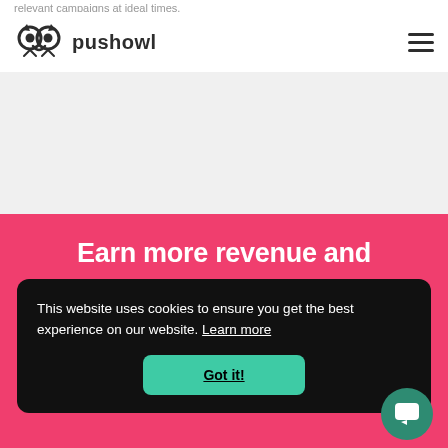relevant campaigns at ideal times.
pushowl (logo with owl icon) — navigation with hamburger menu
[Figure (screenshot): Light gray placeholder/content area below navigation bar]
Earn more revenue and
This website uses cookies to ensure you get the best experience on our website. Learn more
Got it!
[Figure (illustration): Teal circular chat/support widget button with white speech bubble icon in bottom right]